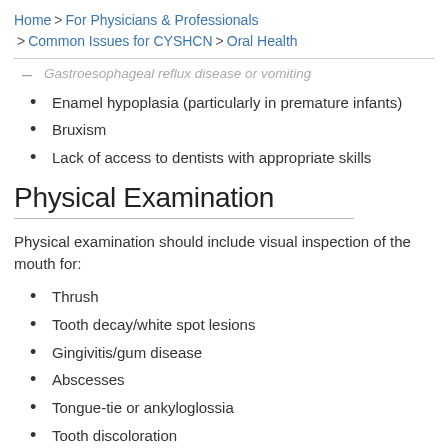Home > For Physicians & Professionals > Common Issues for CYSHCN > Oral Health
Gastroesophageal reflux disease or vomiting
Enamel hypoplasia (particularly in premature infants)
Bruxism
Lack of access to dentists with appropriate skills
Physical Examination
Physical examination should include visual inspection of the mouth for:
Thrush
Tooth decay/white spot lesions
Gingivitis/gum disease
Abscesses
Tongue-tie or ankyloglossia
Tooth discoloration
Tongue plaques
Canker sores